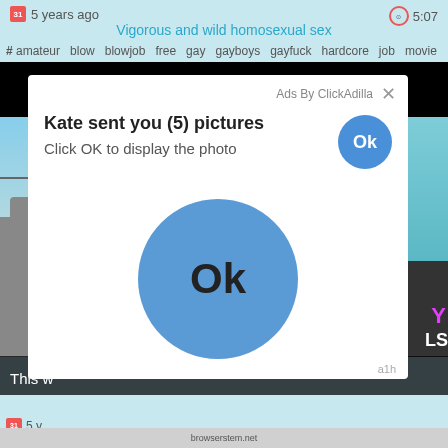5 years ago
5:07
Vigorous and wild homosexual sex
# amateur blow blowjob free gay gayboys gayfuck hardcore job movie po...
[Figure (screenshot): Video player screenshot showing adult content site with ad popup overlay. The ad popup reads: 'Kate sent you (5) pictures / Click OK to display the photo' with a blue Ok button. Large blue Ok button in center of popup. Ads By ClickAdilla header with X close. [x] Close Ad button in top right of video.]
This w
5 y...
a1h